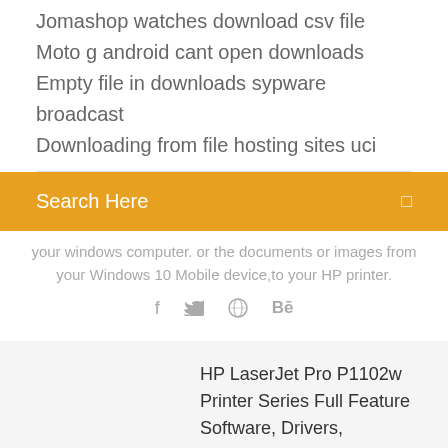Jomashop watches download csv file
Moto g android cant open downloads
Empty file in downloads sypware broadcast
Downloading from file hosting sites uci
Search Here
your windows computer. or the documents or images from your Windows 10 Mobile device,to your HP printer.
f  🐦  ⊕  Bē
HP LaserJet Pro P1102w Printer Series Full Feature Software, Drivers, firmware download, install and fix printer driver problems for Microsoft Windows 10/8/8.1/7/XP/Vista 32-bit – 64-bit and Macintosh Operating System